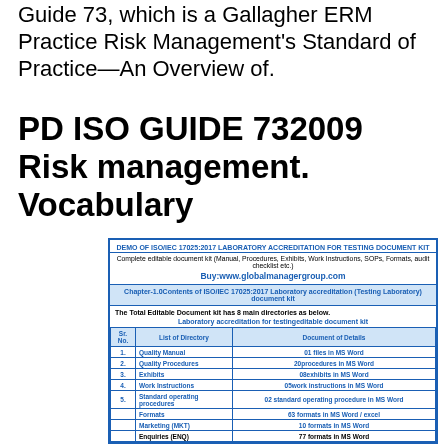Guide 73, which is a Gallagher ERM Practice Risk Management's Standard of Practice—An Overview of.
PD ISO GUIDE 732009 Risk management. Vocabulary
[Figure (infographic): Demo box for ISO/IEC 17025:2017 Laboratory Accreditation for Testing Document Kit, showing a table of directory contents with Sr. No., List of Directory, and Document of Details columns.]